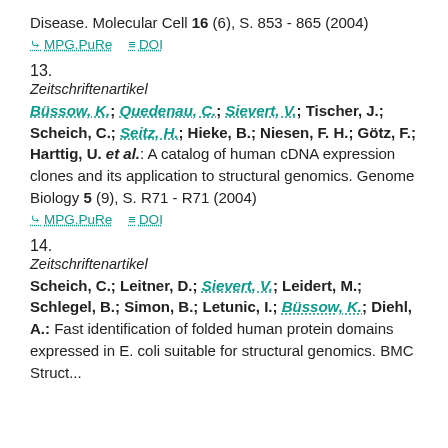Disease. Molecular Cell 16 (6), S. 853 - 865 (2004)
MPG.PuRe   DOI
13.
Zeitschriftenartikel
Büssow, K.; Quedenau, C.; Sievert, V.; Tischer, J.; Scheich, C.; Seitz, H.; Hieke, B.; Niesen, F. H.; Götz, F.; Harttig, U. et al.: A catalog of human cDNA expression clones and its application to structural genomics. Genome Biology 5 (9), S. R71 - R71 (2004)
MPG.PuRe   DOI
14.
Zeitschriftenartikel
Scheich, C.; Leitner, D.; Sievert, V.; Leidert, M.; Schlegel, B.; Simon, B.; Letunic, I.; Büssow, K.; Diehl, A.: Fast identification of folded human protein domains expressed in E. coli suitable for structural genomics. BMC Struct...